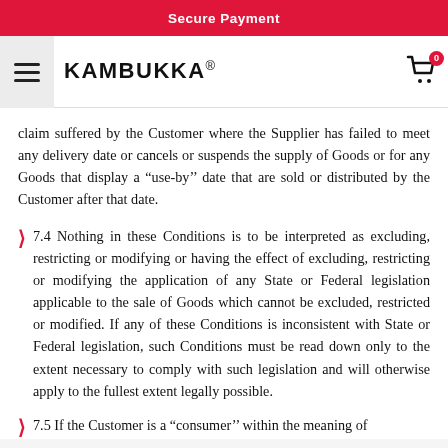Secure Payment
claim suffered by the Customer where the Supplier has failed to meet any delivery date or cancels or suspends the supply of Goods or for any Goods that display a “use-by’’ date that are sold or distributed by the Customer after that date.
7.4 Nothing in these Conditions is to be interpreted as excluding, restricting or modifying or having the effect of excluding, restricting or modifying the application of any State or Federal legislation applicable to the sale of Goods which cannot be excluded, restricted or modified. If any of these Conditions is inconsistent with State or Federal legislation, such Conditions must be read down only to the extent necessary to comply with such legislation and will otherwise apply to the fullest extent legally possible.
7.5 If the Customer is a “consumer’’ within the meaning of